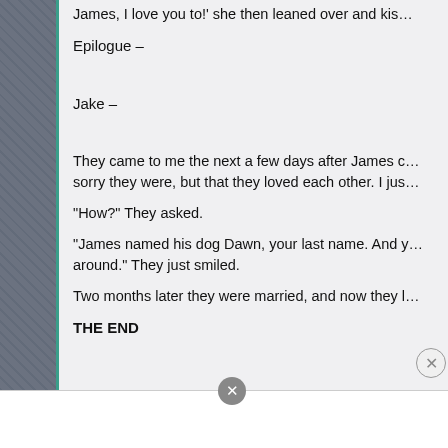James, I love you to!' she then leaned over and kis…
Epilogue –
Jake –
They came to me the next a few days after James c… sorry they were, but that they loved each other. I jus…
“How?” They asked.
“James named his dog Dawn, your last name. And y… around.” They just smiled.
Two months later they were married, and now they l…
THE END